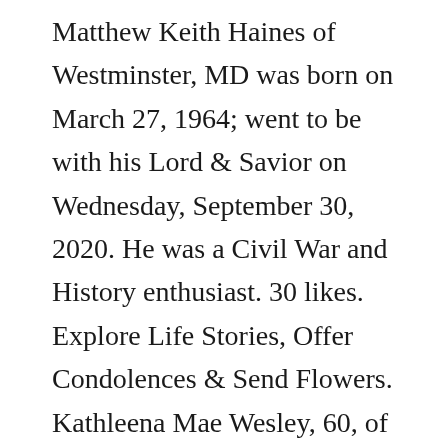Matthew Keith Haines of Westminster, MD was born on March 27, 1964; went to be with his Lord & Savior on Wednesday, September 30, 2020. He was a Civil War and History enthusiast. 30 likes. Explore Life Stories, Offer Condolences & Send Flowers. Kathleena Mae Wesley, 60, of Upperco passed away on October 18, 2020. Plant a tree to honor the memory of your loved one. We will miss him. Terms of Service. I'll always remeber him taking us across the creek to walk in the woods. Memorial service at a later